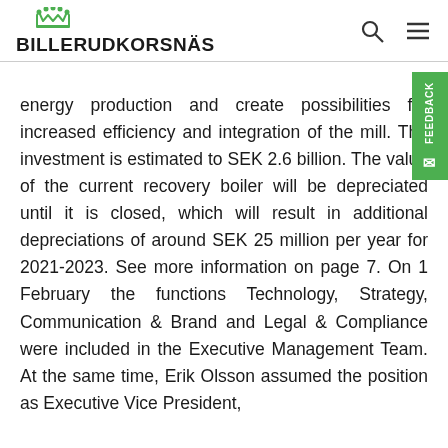BILLERUDKORSNÄS
energy production and create possibilities for increased efficiency and integration of the mill. The investment is estimated to SEK 2.6 billion. The value of the current recovery boiler will be depreciated until it is closed, which will result in additional depreciations of around SEK 25 million per year for 2021-2023. See more information on page 7. On 1 February the functions Technology, Strategy, Communication & Brand and Legal & Compliance were included in the Executive Management Team. At the same time, Erik Olsson assumed the position as Executive Vice President,